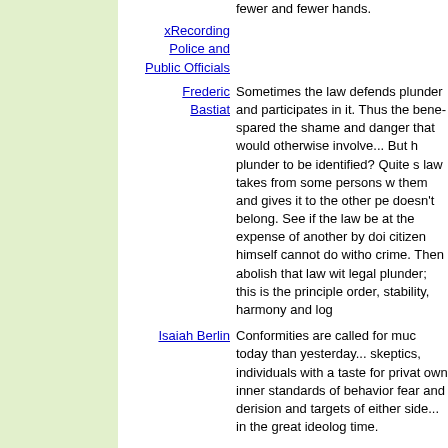fewer and fewer hands.
xRecording Police and Public Officials
Frederic Bastiat — Sometimes the law defends plunder and participates in it. Thus the beneficiary is spared the shame and danger that his acts would otherwise involve... But how is this legal plunder to be identified? Quite simply. See if the law takes from some persons what belongs to them and gives it to the other persons to whom it doesn't belong. See if the law benefits one citizen at the expense of another by doing what the citizen himself cannot do without committing a crime. Then abolish that law without delay - No legal plunder; this is the principle of justice, order, stability, harmony and logic.
Isaiah Berlin — Conformities are called for much more today than yesterday... skeptics, individuals with a taste for private life and their own inner standards of behavior, become objects of fear and derision and targets of persecution on either side... in the great ideological wars of our time.
Justice / Hugo L. Black — Anonymous pamphlets, leaflets, brochures and even books have played an important role in the progress of mankind. Persecuted groups and sects from time to time throughout history have been able to criticize the oppressive practices...